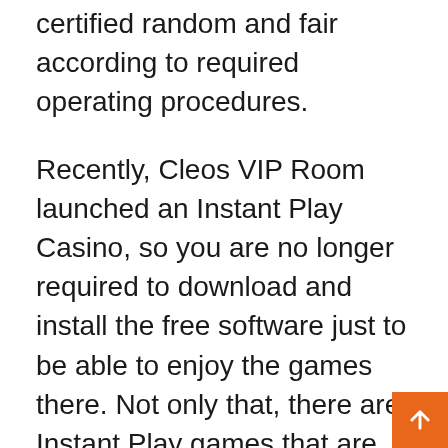certified random and fair according to required operating procedures.
Recently, Cleos VIP Room launched an Instant Play Casino, so you are no longer required to download and install the free software just to be able to enjoy the games there. Not only that, there are Instant Play games that are unique to the Instant Play Casino, and not available in the download version of the casino. Click any link on this website to go to the homepage of the website and you have the option to download and install the software if you prefer, or to try the all New Instant Play version of the casino.
There are several free money bonuses available and you are welcome to take advantage of every